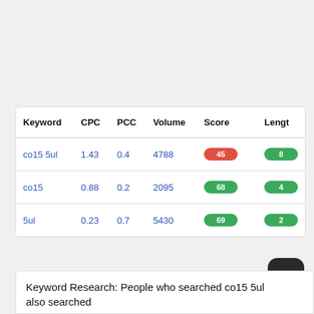| Keyword | CPC | PCC | Volume | Score | Length |
| --- | --- | --- | --- | --- | --- |
| co15 5ul | 1.43 | 0.4 | 4788 | 45 | 8 |
| co15 | 0.88 | 0.2 | 2095 | 68 | 4 |
| 5ul | 0.23 | 0.7 | 5430 | 69 | 2 |
Keyword Research: People who searched co15 5ul also searched